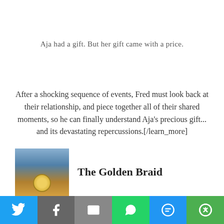Aja had a gift. But her gift came with a price.
After a shocking sequence of events, Fred must look back at their relationship, and piece together all of their shared moments, so he can finally understand Aja's precious gift... and its devastating repercussions.[/learn_more]
[Figure (photo): Book cover image showing a woman with braided hair against a cloudy sky background, with a gold seal/badge at the bottom]
The Golden Braid
[Figure (infographic): Social media share bar with buttons for Twitter, Facebook, Email, WhatsApp, SMS, and a generic share/more option]